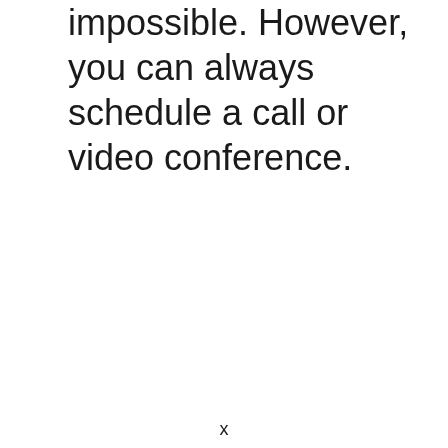impossible. However, you can always schedule a call or video conference.
x